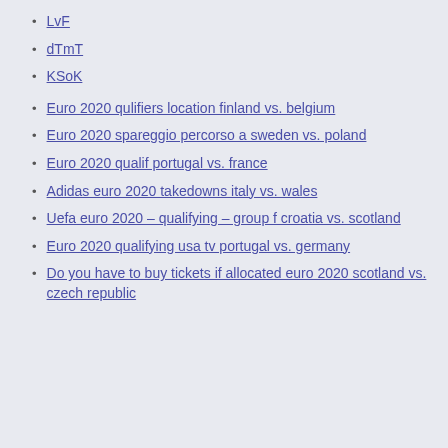LvF
dTmT
KSoK
Euro 2020 qulifiers location finland vs. belgium
Euro 2020 spareggio percorso a sweden vs. poland
Euro 2020 qualif portugal vs. france
Adidas euro 2020 takedowns italy vs. wales
Uefa euro 2020 – qualifying – group f croatia vs. scotland
Euro 2020 qualifying usa tv portugal vs. germany
Do you have to buy tickets if allocated euro 2020 scotland vs. czech republic